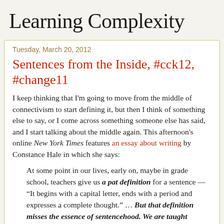Learning Complexity
Tuesday, March 20, 2012
Sentences from the Inside, #cck12, #change11
I keep thinking that I'm going to move from the middle of connectivism to start defining it, but then I think of something else to say, or I come across something someone else has said, and I start talking about the middle again. This afternoon's online New York Times features an essay about writing by Constance Hale in which she says:
At some point in our lives, early on, maybe in grade school, teachers give us a pat definition for a sentence — “It begins with a capital letter, ends with a period and expresses a complete thought.” … But that definition misses the essence of sentencehood. We are taught